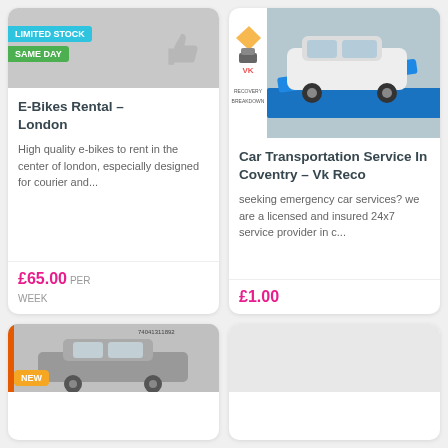[Figure (photo): E-bikes listing card image with LIMITED STOCK and SAME DAY badges and thumbs up icon]
E-Bikes Rental – London
High quality e-bikes to rent in the center of london, especially designed for courier and...
£65.00 PER WEEK
[Figure (photo): VK Recovery Breakdown car transportation service image showing a white car on a tow truck]
Car Transportation Service In Coventry – Vk Reco
seeking emergency car services? we are a licensed and insured 24x7 service provider in c...
£1.00
[Figure (photo): Partial bottom-left card showing a car image with NEW badge and watermark text]
[Figure (photo): Partial bottom-right card, mostly white]